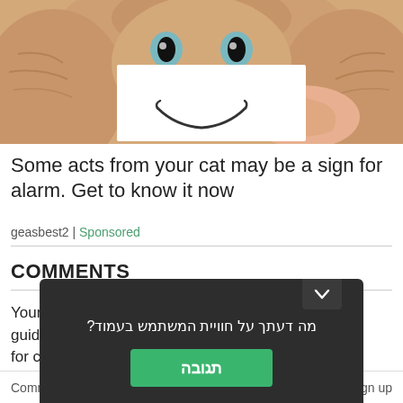[Figure (photo): A cat holding a white card with a drawn smile in front of its face, held by a human hand]
Some acts from your cat may be a sign for alarm. Get to know it now
geasbest2 | Sponsored
COMMENTS
Your comments are welcome. Please read the guidelines for comm...
Commenting... Sign up
[Figure (screenshot): Dark popup overlay with Hebrew text 'מה דעתך על חוויית המשתמש בעמוד?' and a green button labeled 'תגובה']